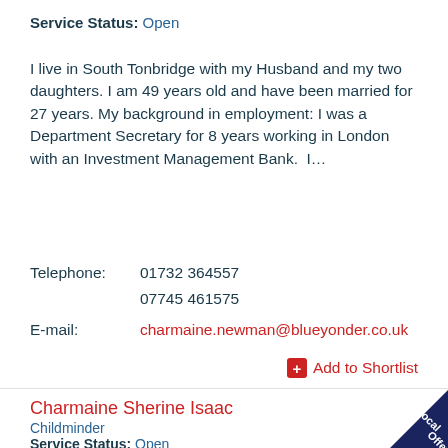Service Status: Open
I live in South Tonbridge with my Husband and my two daughters. I am 49 years old and have been married for 27 years. My background in employment: I was a Department Secretary for 8 years working in London with an Investment Management Bank.  I…
Telephone:  01732 364557
                       07745 461575
E-mail:           charmaine.newman@blueyonder.co.uk
Add to Shortlist
Charmaine Sherine Isaac
Childminder
Service Status: Open
[Figure (other): Local Offer badge — dark navy triangle in bottom-right corner with white text 'Local Offer' rotated diagonally]